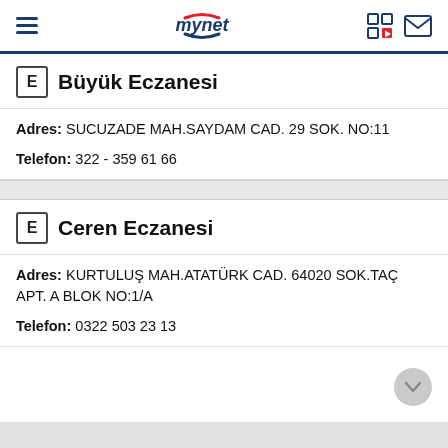mynet – navigation bar
Büyük Eczanesi
Adres: SUCUZADE MAH.SAYDAM CAD. 29 SOK. NO:11
Telefon: 322 - 359 61 66
Ceren Eczanesi
Adres: KURTULUŞ MAH.ATATÜRK CAD. 64020 SOK.TAÇ APT. A BLOK NO:1/A
Telefon: 0322 503 23 13